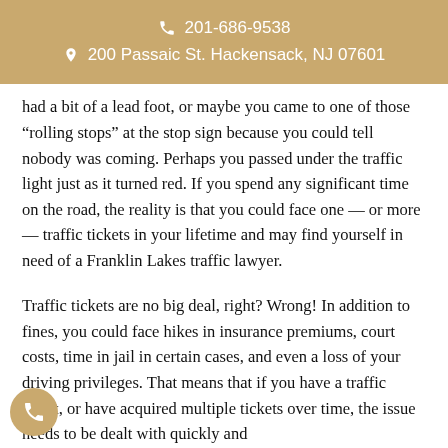201-686-9538
200 Passaic St. Hackensack, NJ 07601
had a bit of a lead foot, or maybe you came to one of those “rolling stops” at the stop sign because you could tell nobody was coming. Perhaps you passed under the traffic light just as it turned red. If you spend any significant time on the road, the reality is that you could face one — or more — traffic tickets in your lifetime and may find yourself in need of a Franklin Lakes traffic lawyer.
Traffic tickets are no big deal, right? Wrong! In addition to fines, you could face hikes in insurance premiums, court costs, time in jail in certain cases, and even a loss of your driving privileges. That means that if you have a traffic ticket, or have acquired multiple tickets over time, the issue needs to be dealt with quickly and